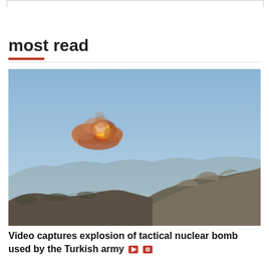most read
[Figure (photo): Explosion of a tactical nuclear bomb over a mountainous rocky ridge, with orange fireball and smoke rising against a clear blue sky. Photographed from a distance.]
Video captures explosion of tactical nuclear bomb used by the Turkish army